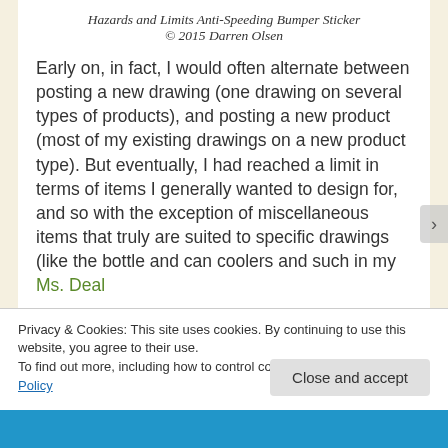Hazards and Limits Anti-Speeding Bumper Sticker
© 2015 Darren Olsen
Early on, in fact, I would often alternate between posting a new drawing (one drawing on several types of products), and posting a new product (most of my existing drawings on a new product type). But eventually, I had reached a limit in terms of items I generally wanted to design for, and so with the exception of miscellaneous items that truly are suited to specific drawings (like the bottle and can coolers and such in my Ms. Deal
Privacy & Cookies: This site uses cookies. By continuing to use this website, you agree to their use.
To find out more, including how to control cookies, see here: Cookie Policy
Close and accept